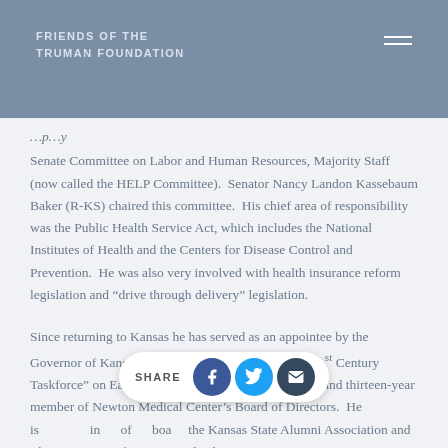FRIENDS OF THE TRUMAN FOUNDATION
Senate Committee on Labor and Human Resources, Majority Staff (now called the HELP Committee). Senator Nancy Landon Kassebaum Baker (R-KS) chaired this committee. His chief area of responsibility was the Public Health Service Act, which includes the National Institutes of Health and the Centers for Disease Control and Prevention. He was also very involved with health insurance reform legislation and “drive through delivery” legislation.
Since returning to Kansas he has served as an appointee by the Governor of Kansas to serve on the “Kansas Vision 21st Century Taskforce” on Early Childhood. He is Past Chairman and thirteen-year member of Newton Medical Center’s Board of Directors. He is in [member] of [board of] the Kansas State Alumni Association and The University of Kansas Medical